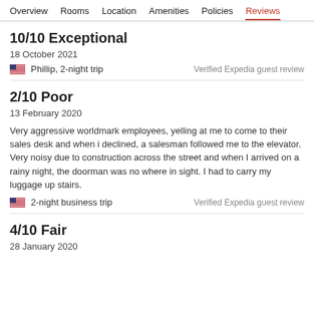Overview | Rooms | Location | Amenities | Policies | Reviews
10/10 Exceptional
18 October 2021
Phillip, 2-night trip
Verified Expedia guest review
2/10 Poor
13 February 2020
Very aggressive worldmark employees, yelling at me to come to their sales desk and when i declined, a salesman followed me to the elevator. Very noisy due to construction across the street and when I arrived on a rainy night, the doorman was no where in sight. I had to carry my luggage up stairs.
2-night business trip
Verified Expedia guest review
4/10 Fair
28 January 2020